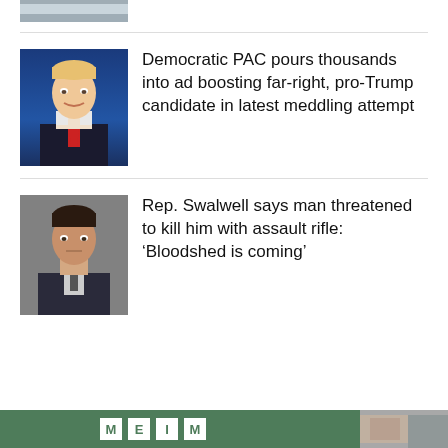[Figure (photo): Partial top image cropped at top of page]
Democratic PAC pours thousands into ad boosting far-right, pro-Trump candidate in latest meddling attempt
Rep. Swalwell says man threatened to kill him with assault rifle: ‘Bloodshed is coming’
[Figure (photo): Bottom banner with green background and white letter tiles, plus partial photo on right]